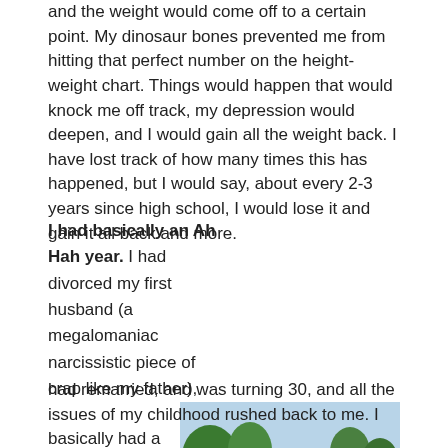and the weight would come off to a certain point. My dinosaur bones prevented me from hitting that perfect number on the height-weight chart. Things would happen that would knock me off track, my depression would deepen, and I would gain all the weight back. I have lost track of how many times this has happened, but I would say, about every 2-3 years since high school, I would lose it and gain it all back and more.
I had basically an Ah Hah year. I had divorced my first husband (a megalomaniac narcissistic piece of crap like my father), had remarried, and was turning 30, and all the issues of my childhood rushed back to me. I basically had a
[Figure (photo): Two people standing together outdoors near a waterfront park with a classical-style building and trees in the background on a sunny day.]